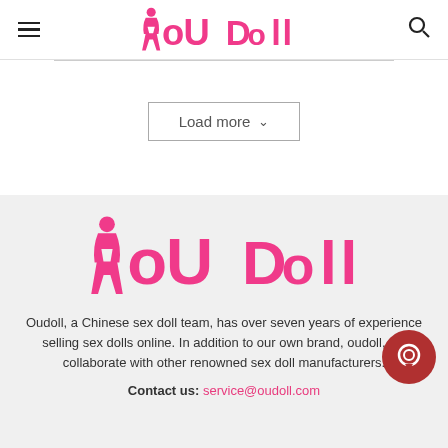Oudoll navigation header with hamburger menu, logo, and search icon
Load more
[Figure (logo): Oudoll brand logo in pink with stylized female figure]
Oudoll, a Chinese sex doll team, has over seven years of experience selling sex dolls online. In addition to our own brand, oudoll, we collaborate with other renowned sex doll manufacturers.
Contact us: service@oudoll.com